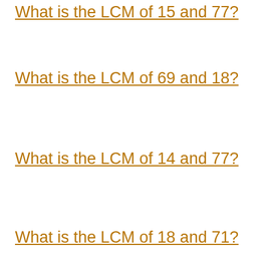What is the LCM of 15 and 77?
What is the LCM of 69 and 18?
What is the LCM of 14 and 77?
What is the LCM of 18 and 71?
What is the LCM of 51 and 52?
What is the LCM of 28 and 63?
What is the LCM of 12 and 92?
What is the LCM of 98 and 17?
What is the LCM of 79 and 37?